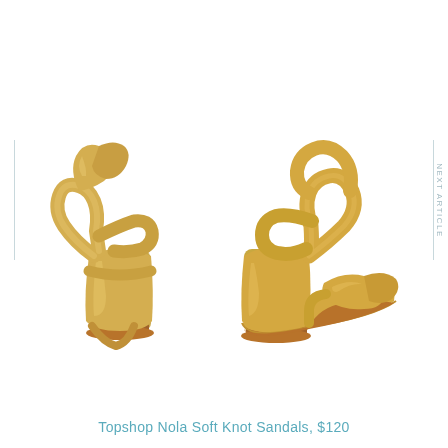[Figure (photo): Two gold metallic block-heel sandals with soft wrap/knot ankle straps — shown from back-left angle and side-front angle against a white background]
Topshop Nola Soft Knot Sandals, $120